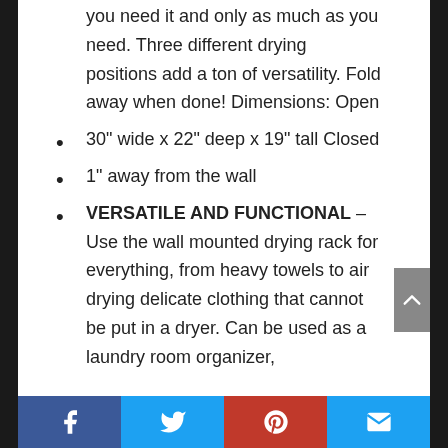you need it and only as much as you need. Three different drying positions add a ton of versatility. Fold away when done! Dimensions: Open
30” wide x 22” deep x 19” tall Closed
1” away from the wall
VERSATILE AND FUNCTIONAL – Use the wall mounted drying rack for everything, from heavy towels to air drying delicate clothing that cannot be put in a dryer. Can be used as a laundry room organizer,
Facebook | Twitter | Pinterest | Email